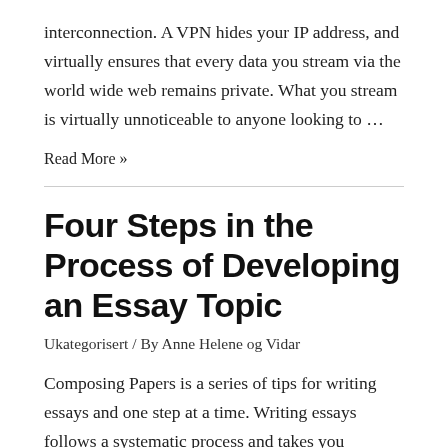interconnection. A VPN hides your IP address, and virtually ensures that every data you stream via the world wide web remains private. What you stream is virtually unnoticeable to anyone looking to …
Read More »
Four Steps in the Process of Developing an Essay Topic
Ukategorisert / By Anne Helene og Vidar
Composing Papers is a series of tips for writing essays and one step at a time. Writing essays follows a systematic process and takes you progressively